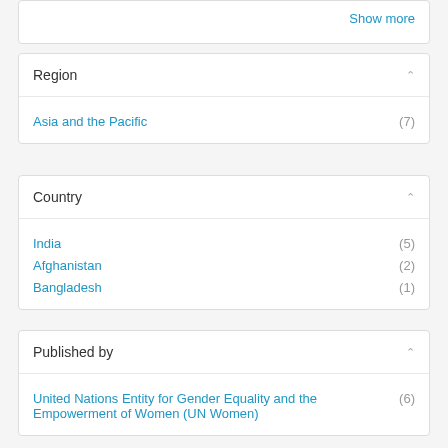Show more
Region
Asia and the Pacific (7)
Country
India (5)
Afghanistan (2)
Bangladesh (1)
Published by
United Nations Entity for Gender Equality and the Empowerment of Women (UN Women) (6)